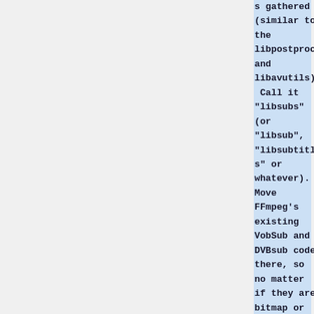s gathered (similar to the libpostproc and libavutils). Call it "libsubs" (or "libsub", "libsubtitles" or whatever). Move FFmpeg's existing VobSub and DVBsub code there, so no matter if they are bitmap or